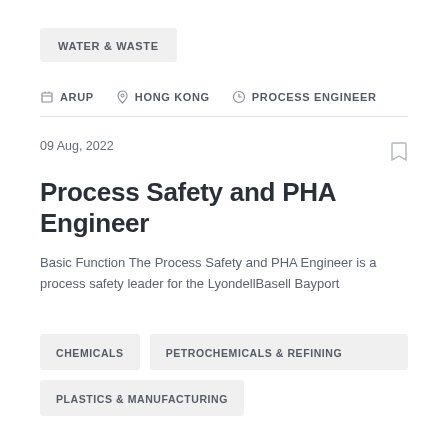WATER & WASTE
ARUP   HONG KONG   PROCESS ENGINEER
09 Aug, 2022
Process Safety and PHA Engineer
Basic Function The Process Safety and PHA Engineer is a process safety leader for the LyondellBasell Bayport
CHEMICALS
PETROCHEMICALS & REFINING
PLASTICS & MANUFACTURING